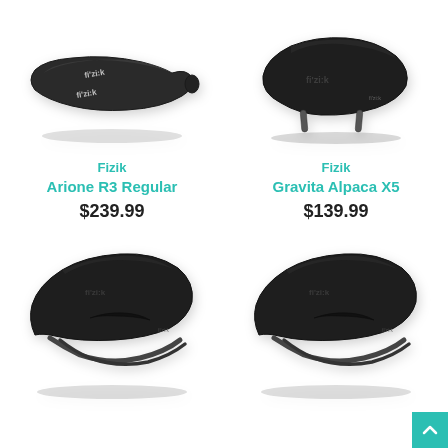[Figure (photo): Fizik Arione R3 Regular bicycle saddle, black, top view, flat profile]
Fizik
Arione R3 Regular
$239.99
[Figure (photo): Fizik Gravita Alpaca X5 bicycle saddle, black, side view, rounded profile]
Fizik
Gravita Alpaca X5
$139.99
[Figure (photo): Fizik bicycle saddle, black, side/front view, bottom left]
[Figure (photo): Fizik bicycle saddle, black, side/front view, bottom right]